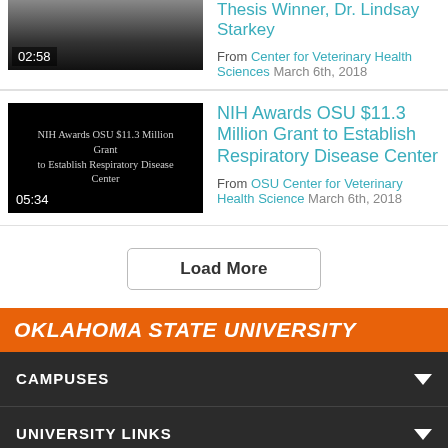[Figure (screenshot): Video thumbnail with gray gradient background showing time 02:58]
Thesis Winner, Dr. Lindsay Starkey
From Center for Veterinary Health Sciences March 6th, 2018
[Figure (screenshot): Video thumbnail with black background, text 'NIH Awards OSU $11.3 Million Grant to Establish Respiratory Disease Center', time 05:34]
NIH Awards OSU $11.3 Million Grant to Establish Respiratory Disease Center
From OSU Center for Veterinary Health Science March 6th, 2018
Load More
OKLAHOMA STATE UNIVERSITY
CAMPUSES
UNIVERSITY LINKS
RESOURCES